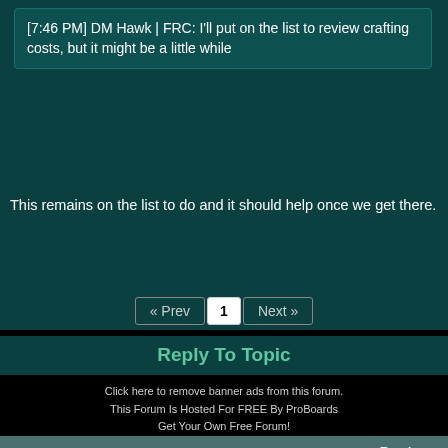[7:46 PM] DM Hawk | FRC: I'll put on the list to review crafting costs, but it might be a little while
This remains on the list to do and it should help once we get there.
« Prev  1  Next »
Reply To Topic
Click here to remove banner ads from this forum.
This Forum Is Hosted For FREE By ProBoards
Get Your Own Free Forum!
Terms of Service   Privacy   Cookies   FTC Disclosure   Report Abuse   Do Not Sell My Personal Information
◄ Back  ▲ Top  Desktop